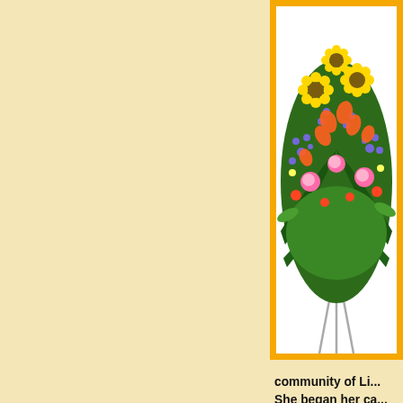[Figure (photo): A colorful floral funeral spray arrangement featuring yellow sunflowers, orange lilies, pink roses, purple flowers, and green ferns on a metal stand, displayed against a white background inside a gold/orange frame border.]
community of Li... She began her ca... assessor and be... such for over 25 ...
She was known b... sharing a smile w... women's quilting... especially those ...